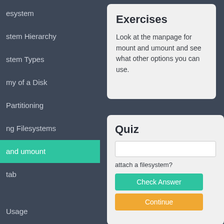esystem
stem Hierarchy
stem Types
my of a Disk
Partitioning
ng Filesystems
and umount
tab
Usage
ystem Repair
Exercises
Look at the manpage for mount and umount and see what other options you can use.
Quiz
attach a filesystem?
Check Answer
Continue